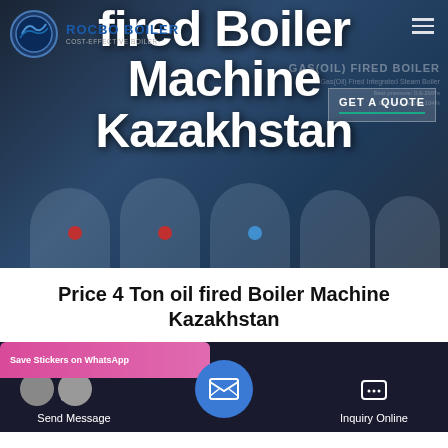[Figure (screenshot): Rocbo Boiler website hero banner showing industrial boiler machinery with large bold text overlay reading 'fired Boiler Machine Kazakhstan' and a GET A QUOTE button. Logo visible top-left.]
Price 4 Ton oil fired Boiler Machine Kazakhstan
[Figure (screenshot): Website bottom navigation bar with Send Message button on left, email icon center FAB button, and Inquiry Online button on right. WhatsApp sticker overlay visible.]